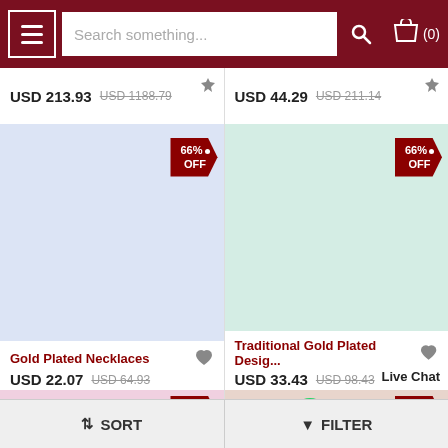[Figure (screenshot): E-commerce navigation bar with hamburger menu, search field with placeholder 'Search something...', search button, and shopping cart icon with (0) count]
USD 213.93  USD 1188.79
USD 44.29  USD 211.14
[Figure (photo): Product image placeholder - light blue background with 66% OFF badge]
[Figure (photo): Product image placeholder - light green background with 66% OFF badge]
Gold Plated Necklaces
USD 22.07  USD 64.93
Traditional Gold Plated Desig...
USD 33.43  USD 98.43
Live Chat
[Figure (photo): Partial product card - pink background with 79% OFF badge]
[Figure (photo): Partial product card - beige/taupe background with 81% OFF badge and WhatsApp icon]
↕ SORT
▼ FILTER